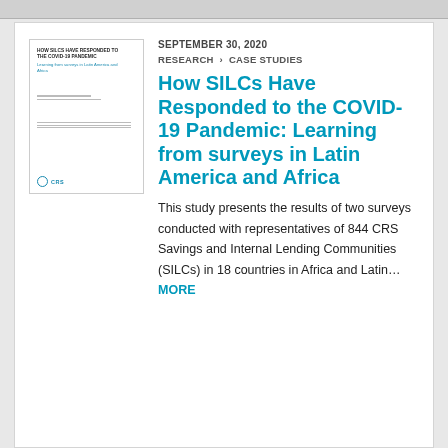[Figure (illustration): Thumbnail image of a document cover page showing 'HOW SILCs HAVE RESPONDED TO THE COVID-19 PANDEMIC: Learning from surveys in Latin America and Africa' with CRS logo at bottom left]
SEPTEMBER 30, 2020
RESEARCH › CASE STUDIES
How SILCs Have Responded to the COVID-19 Pandemic: Learning from surveys in Latin America and Africa
This study presents the results of two surveys conducted with representatives of 844 CRS Savings and Internal Lending Communities (SILCs) in 18 countries in Africa and Latin… MORE